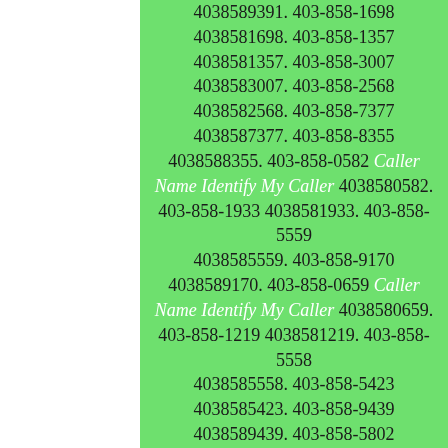4038589391. 403-858-1698 4038581698. 403-858-1357 4038581357. 403-858-3007 4038583007. 403-858-2568 4038582568. 403-858-7377 4038587377. 403-858-8355 4038588355. 403-858-0582 Caller Name Identify My Caller 4038580582. 403-858-1933 4038581933. 403-858-5559 4038585559. 403-858-9170 4038589170. 403-858-0659 Caller Name Identify My Caller 4038580659. 403-858-1219 4038581219. 403-858-5558 4038585558. 403-858-5423 4038585423. 403-858-9439 4038589439. 403-858-5802 4038585802. 403-858-7386 4038587386. 403-858-2339 4038582339. 403-858-3232 4038583232. 403-858-6374 4038586374. 403-858-4864 4038584864. 403-858-7036 4038587036. 403-858-2365 4038582365. 403-858-3958 4038583958. 403-858-2019